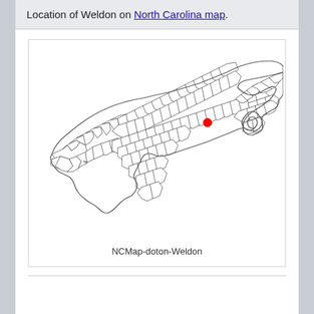Location of Weldon on North Carolina map.
[Figure (map): Outline map of North Carolina showing county boundaries with a red dot marking the location of Weldon in the northeastern part of the state.]
NCMap-doton-Weldon